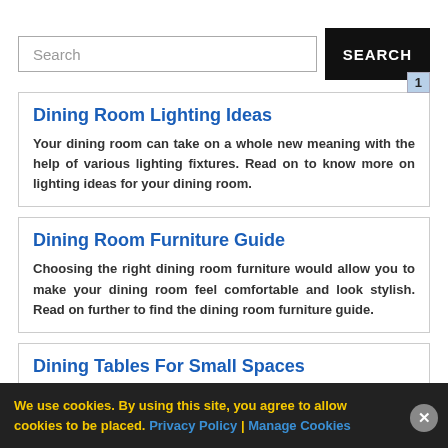Search
SEARCH
1
Dining Room Lighting Ideas
Your dining room can take on a whole new meaning with the help of various lighting fixtures. Read on to know more on lighting ideas for your dining room.
Dining Room Furniture Guide
Choosing the right dining room furniture would allow you to make your dining room feel comfortable and look stylish. Read on further to find the dining room furniture guide.
Dining Tables For Small Spaces
Spaces don't come cheap these days and fitting a dining table
We use cookies. By using this site, you agree to allow cookies to be placed. Privacy Policy | Manage Cookies